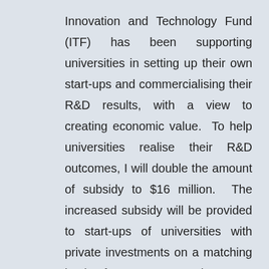Innovation and Technology Fund (ITF) has been supporting universities in setting up their own start-ups and commercialising their R&D results, with a view to creating economic value. To help universities realise their R&D outcomes, I will double the amount of subsidy to $16 million. The increased subsidy will be provided to start-ups of universities with private investments on a matching basis of one to one. Each start-up may receive an annual subsidy of up to $1.5 million for a maximum of three years. The initiative will incur an additional expenditure of $48 million per year.